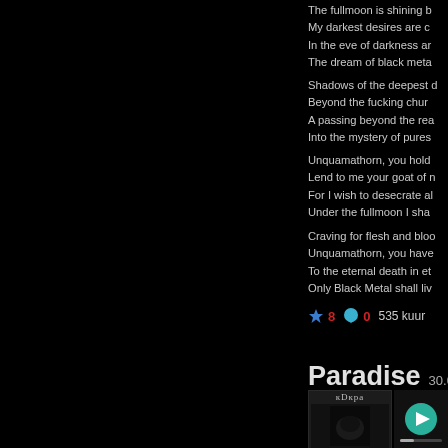The fullmoon is shining b
My darkest desires are c
In the eve of darkness ar
The dream of black meta
Shadows of the deepest d
Beyond the fucking chur
A passing beyond the rea
Into the mystery of pures
Unquamathorn, you hold
Lend to me your goat of n
For I wish to desecrate al
Under the fullmoon I sha
Craving for flesh and bloo
Unquamathorn, you have
To the eternal death in et
Only Black Metal shall liv
★ 8  💬 0  535 kuur
Paradise 30.01.2006
[Figure (photo): Black and white album thumbnail with text 'кDкра' visible at top]
[Figure (screenshot): Music player with teal play button and progress bar on dark background]